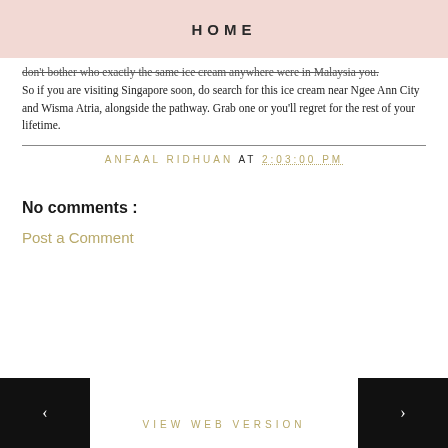HOME
don't bother who exactly the same ice cream anywhere were in Malaysia you. So if you are visiting Singapore soon, do search for this ice cream near Ngee Ann City and Wisma Atria, alongside the pathway. Grab one or you'll regret for the rest of your lifetime.
ANFAAL RIDHUAN AT 2:03:00 PM
No comments :
Post a Comment
VIEW WEB VERSION